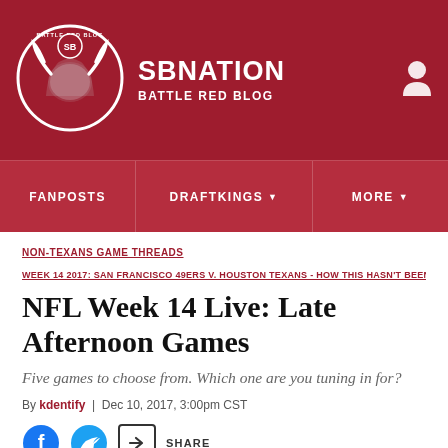SB NATION / BATTLE RED BLOG
FANPOSTS | DRAFTKINGS | MORE
NON-TEXANS GAME THREADS
WEEK 14 2017: SAN FRANCISCO 49ERS V. HOUSTON TEXANS - HOW THIS HASN'T BEEN FLEXED TO S
NFL Week 14 Live: Late Afternoon Games
Five games to choose from. Which one are you tuning in for?
By kdentify | Dec 10, 2017, 3:00pm CST